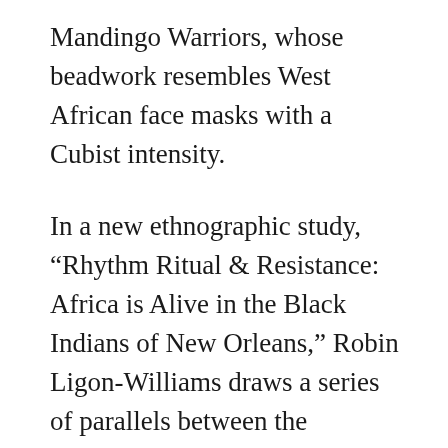Mandingo Warriors, whose beadwork resembles West African face masks with a Cubist intensity.
In a new ethnographic study, “Rhythm Ritual & Resistance: Africa is Alive in the Black Indians of New Orleans,” Robin Ligon-Williams draws a series of parallels between the beadwork, music and body language of the Indians and West African tribal traditions, a shared cultural memory.
Andrew Wiseman, a Ghanaian of the Ewe people, and a ceremonial voodoo drummer for Guardians of the Flame, tells the writer: “You can take people out of Africa, but you cannot